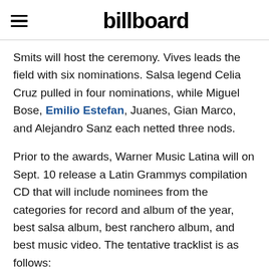billboard
Smits will host the ceremony. Vives leads the field with six nominations. Salsa legend Celia Cruz pulled in four nominations, while Miguel Bose, Emilio Estefan, Juanes, Gian Marco, and Alejandro Sanz each netted three nods.
Prior to the awards, Warner Music Latina will on Sept. 10 release a Latin Grammys compilation CD that will include nominees from the categories for record and album of the year, best salsa album, best ranchero album, and best music video. The tentative tracklist is as follows:
“La Negra Tiene Tumbao,” Celia Cruz
“Mentira,” La Ley